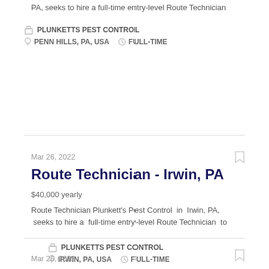PA,  seeks to hire a  full-time entry-level Route Technician
PLUNKETTS PEST CONTROL
PENN HILLS, PA, USA   FULL-TIME
Mar 26, 2022
Route Technician - Irwin, PA
$40,000 yearly
Route Technician Plunkett's Pest Control  in  Irwin, PA,  seeks to hire a  full-time entry-level Route Technician  to
PLUNKETTS PEST CONTROL
IRWIN, PA, USA   FULL-TIME
Mar 26, 2022